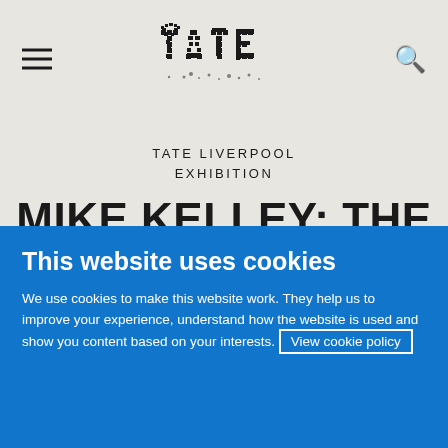[Figure (logo): Tate museum logo — pixelated/halftone TATE wordmark in black]
TATE LIVERPOOL EXHIBITION
MIKE KELLEY: THE UNCANNY
20 FEBRUARY – 3 MAY 2004
This website uses cookies
We use cookies to make this website work. They help us to improve your experience, understand how the website is used and show you content based on your interests. View cookie policy